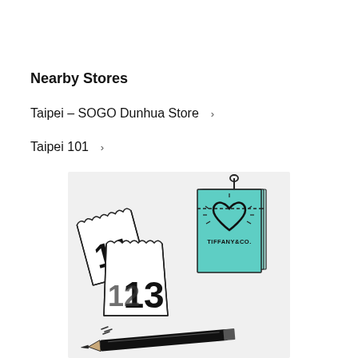Nearby Stores
Taipei – SOGO Dunhua Store  >
Taipei 101  >
[Figure (illustration): Tiffany & Co. branded illustration showing calendar pages with numbers 11, 12, 13, a teal Tiffany gift box with a heart logo, and a pencil — all in a sketch style]